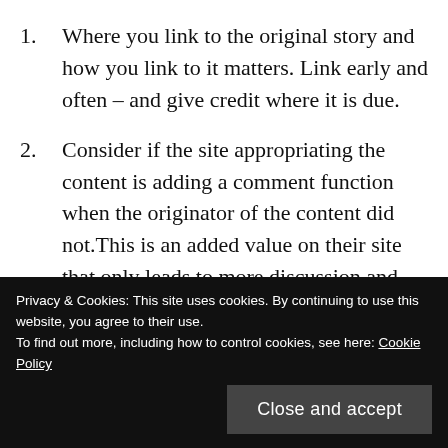Where you link to the original story and how you link to it matters. Link early and often – and give credit where it is due.
Consider if the site appropriating the content is adding a comment function when the originator of the content did not.This is an added value on their site that only leads to more discussion and reading of the original story.
What is the balance between the value added by the appropriating site and the amount of original content
Privacy & Cookies: This site uses cookies. By continuing to use this website, you agree to their use.
To find out more, including how to control cookies, see here: Cookie Policy